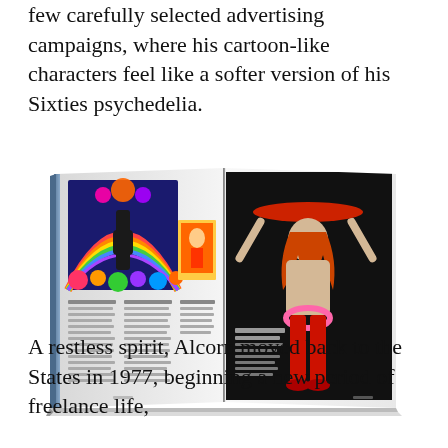few carefully selected advertising campaigns, where his cartoon-like characters feel like a softer version of his Sixties psychedelia.
[Figure (photo): An open book showing two illustrated pages: the left page features a colorful psychedelic Coca-Cola advertisement with rainbow and floral motifs, and the right page shows a black background poster with a stylized female figure in red boots holding a platter.]
A restless spirit, Alcorn moved back to the States in 1977, beginning a new period of freelance life,